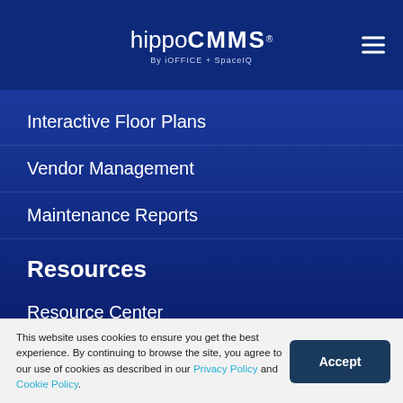hippoCMMS By iOFFICE + SpaceIQ
Interactive Floor Plans
Vendor Management
Maintenance Reports
Resources
Resource Center
Blog
Testimonials
Price Calculator
This website uses cookies to ensure you get the best experience. By continuing to browse the site, you agree to our use of cookies as described in our Privacy Policy and Cookie Policy.